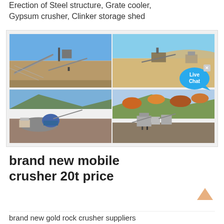Erection of Steel structure, Grate cooler, Gypsum crusher, Clinker storage shed
[Figure (photo): Four photos of mining/crushing plant sites showing industrial machinery, conveyor belts, and quarry operations in open-air settings. Top-left: flat open site with conveyors and structures. Top-right: arid hillside with crusher equipment. Bottom-left: mountainous terrain with blue mobile crusher. Bottom-right: hillside with colorful autumn trees and crushing plant.]
brand new mobile crusher 20t price
brand new gold rock crusher suppliers